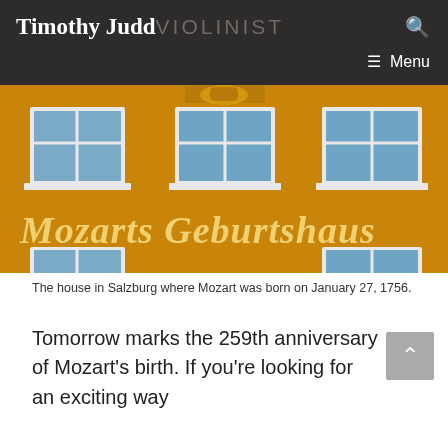Timothy Judd VIOLINIST
[Figure (photo): Exterior facade of Mozarts Geburtshaus (Mozart's birthplace) in Salzburg, a yellow building with white-framed windows and the text 'Mozarts Geburtshaus' in golden script.]
The house in Salzburg where Mozart was born on January 27, 1756.
Tomorrow marks the 259th anniversary of Mozart's birth. If you're looking for an exciting way